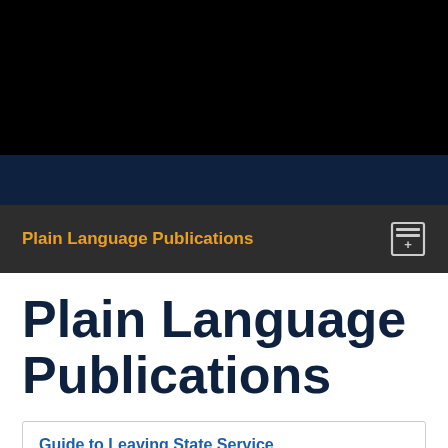Plain Language Publications
Plain Language Publications
Guide to Leaving State Service